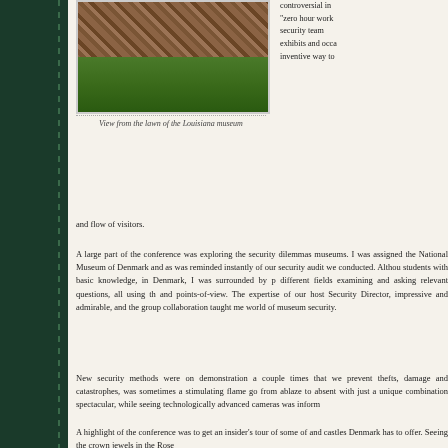[Figure (photo): Photograph showing a cobblestone path or paved area with grass lawn below, viewed from the lawn of the Louisiana museum]
View from the lawn of the Louisiana museum
controversial in "zero hour work security team exhibits and occasionally inventive way to and flow of visitors.
A large part of the conference was exploring the security dilemmas museums. I was assigned the National Museum of Denmark and as was reminded instantly of our security audit we conducted. Althou students with basic knowledge, in Denmark, I was surrounded by p different fields examining and asking relevant questions, all using th and points-of-view. The expertise of our host Security Director, impressive and admirable, and the group collaboration taught me world of museum security.
New security methods were on demonstration a couple times that we prevent thefts, damage and catastrophes, was sometimes a stimulating flame go from ablaze to absent with just a unique combination spectacular, while seeing technologically advanced cameras was inform
A highlight of the conference was to get an insider's tour of some of and castles Denmark has to offer. Seeing the crown jewels in the Rose